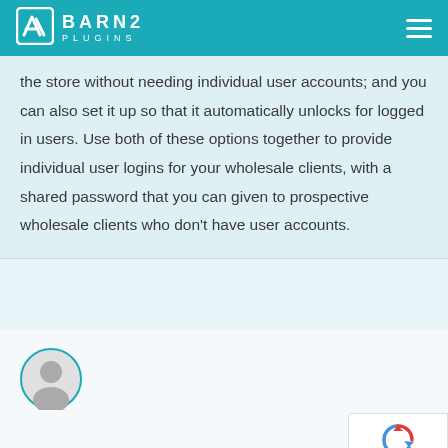BARN2 PLUGINS
the store without needing individual user accounts; and you can also set it up so that it automatically unlocks for logged in users. Use both of these options together to provide individual user logins for your wholesale clients, with a shared password that you can given to prospective wholesale clients who don't have user accounts.
Devesh